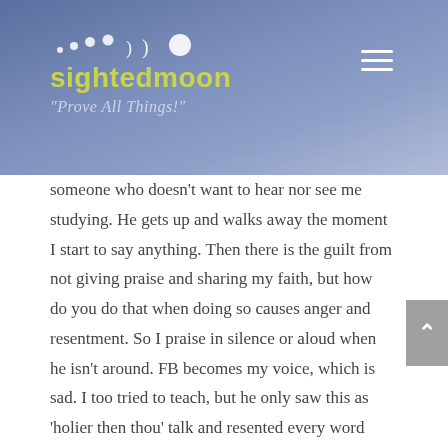sightedmoon — "Prove All Things!"
someone who doesn't want to hear nor see me studying. He gets up and walks away the moment I start to say anything. Then there is the guilt from not giving praise and sharing my faith, but how do you do that when doing so causes anger and resentment. So I praise in silence or aloud when he isn't around. FB becomes my voice, which is sad. I too tried to teach, but he only saw this as 'holier then thou' talk and resented every word and I'll never be able to overcome that. My children won't give me 30 seconds to talk about anything spiritual so more guilt there too. I grew up in Methodist church